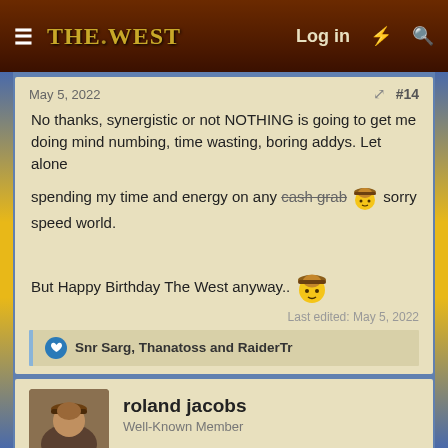The West — Log in
May 5, 2022  #14
No thanks, synergistic or not NOTHING is going to get me doing mind numbing, time wasting, boring addys. Let alone spending my time and energy on any cash grab [emoji] sorry speed world.

But Happy Birthday The West anyway.. [emoji]

Last edited: May 5, 2022
Snr Sarg, Thanatoss and RaiderTr
roland jacobs
Well-Known Member
May 5, 2022  #15
So new event gear for adventures are released, and then a